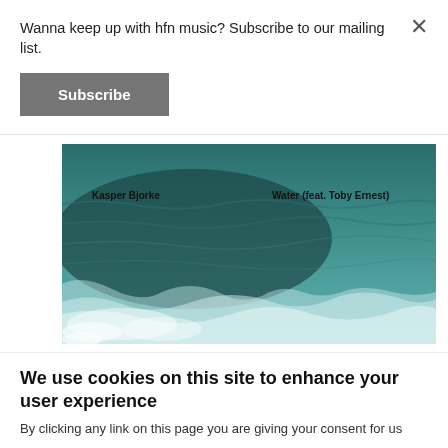Wanna keep up with hfn music? Subscribe to our mailing list.
Subscribe
[Figure (photo): Album art for Kasper Bjorke - Water (feat. Toby Ernest). Aerial view of ocean waves in teal/blue-green tones with white foam. Text overlay: 'Kasper Bjorke' on left and 'Water (feat. Toby Ernest)' on right.]
hfn95-s2
Kasper Bjørke
We use cookies on this site to enhance your user experience
By clicking any link on this page you are giving your consent for us